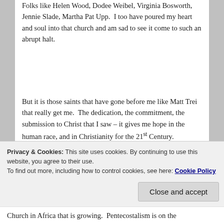Folks like Helen Wood, Dodee Weibel, Virginia Bosworth, Jennie Slade, Martha Pat Upp.  I too have poured my heart and soul into that church and am sad to see it come to such an abrupt halt.
But it is those saints that have gone before me like Matt Trei that really get me.  The dedication, the commitment, the submission to Christ that I saw – it gives me hope in the human race, and in Christianity for the 21st Century.
Privacy & Cookies: This site uses cookies. By continuing to use this website, you agree to their use.
To find out more, including how to control cookies, see here: Cookie Policy
Close and accept
Church in Africa that is growing.  Pentecostalism is on the